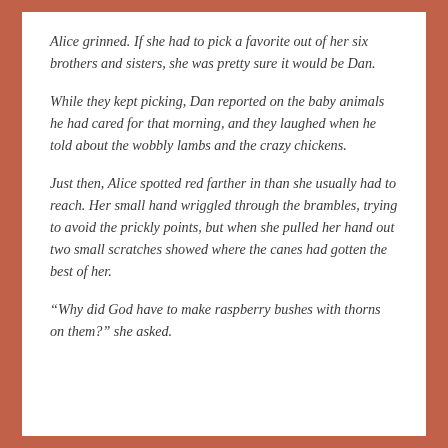Alice grinned. If she had to pick a favorite out of her six brothers and sisters, she was pretty sure it would be Dan.
While they kept picking, Dan reported on the baby animals he had cared for that morning, and they laughed when he told about the wobbly lambs and the crazy chickens.
Just then, Alice spotted red farther in than she usually had to reach. Her small hand wriggled through the brambles, trying to avoid the prickly points, but when she pulled her hand out two small scratches showed where the canes had gotten the best of her.
“Why did God have to make raspberry bushes with thorns on them?” she asked.